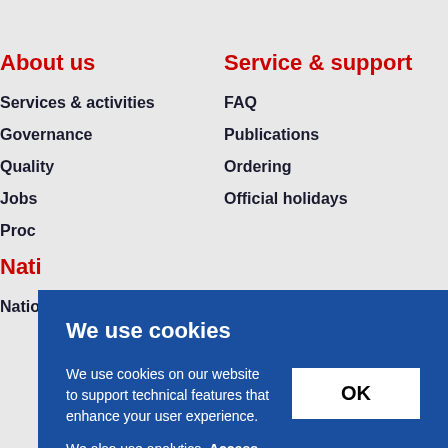About us
Services & activities
Governance
Quality
Jobs
Proc…
Nati…
Natio…
Service & support
FAQ
Publications
Ordering
Official holidays
…ces
…letter
We use cookies
We use cookies on our website to support technical features that enhance your user experience.
We also use analytics. Access full information on cookies that we use and how to manage them